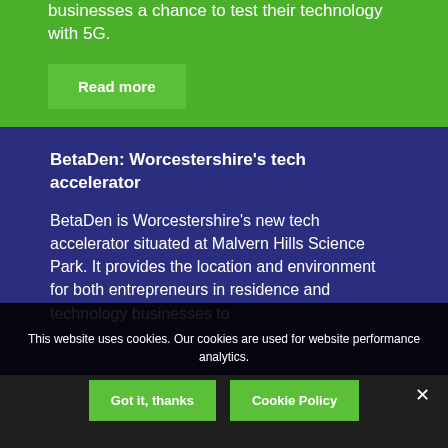businesses a chance to test their technology with 5G.
Read more
BetaDen: Worcestershire's tech accelerator
BetaDen is Worcestershire's new tech accelerator situated at Malvern Hills Science Park. It provides the location and environment for both entrepreneurs in residence and technology businesses to
This website uses cookies. Our cookies are used for website performance analytics.
Got it, thanks
Cookie Policy